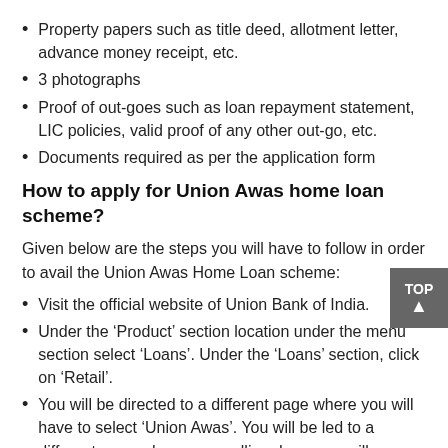Property papers such as title deed, allotment letter, advance money receipt, etc.
3 photographs
Proof of out-goes such as loan repayment statement, LIC policies, valid proof of any other out-go, etc.
Documents required as per the application form
How to apply for Union Awas home loan scheme?
Given below are the steps you will have to follow in order to avail the Union Awas Home Loan scheme:
Visit the official website of Union Bank of India.
Under the ‘Product’ section location under the menu section select ‘Loans’. Under the ‘Loans’ section, click on ‘Retail’.
You will be directed to a different page where you will have to select ‘Union Awas’. You will be led to a different page where on scrolling down you will come across ‘Application Form’. Click on ‘click here’ to fill the application form.